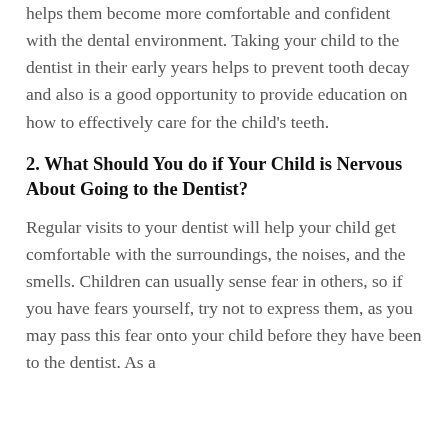helps them become more comfortable and confident with the dental environment. Taking your child to the dentist in their early years helps to prevent tooth decay and also is a good opportunity to provide education on how to effectively care for the child's teeth.
2. What Should You do if Your Child is Nervous About Going to the Dentist?
Regular visits to your dentist will help your child get comfortable with the surroundings, the noises, and the smells. Children can usually sense fear in others, so if you have fears yourself, try not to express them, as you may pass this fear onto your child before they have been to the dentist. As a